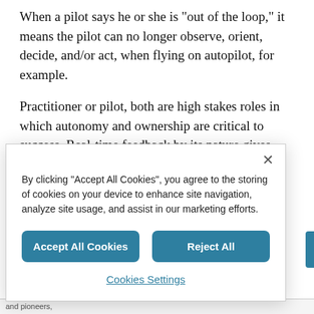When a pilot says he or she is "out of the loop," it means the pilot can no longer observe, orient, decide, and/or act, when flying on autopilot, for example.
Practitioner or pilot, both are high stakes roles in which autonomy and ownership are critical to success. Real-time feedback by its nature gives practitioners little choice but to be engaged in the OODA loop, which improves
[Figure (screenshot): Cookie consent modal dialog with close button (×), explanatory text about cookies, two teal buttons labeled 'Accept All Cookies' and 'Reject All', and a 'Cookies Settings' link.]
and pioneers,